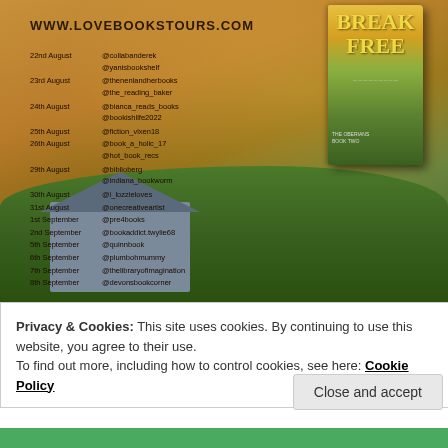[Figure (illustration): Book tour promotional banner with landscape background (golden/green hills, stone cottage), book cover for 'Break Free - The Oberians Book Two', and a schedule of blog tour dates and social media handles for August-September]
Privacy & Cookies: This site uses cookies. By continuing to use this website, you agree to their use.
To find out more, including how to control cookies, see here: Cookie Policy